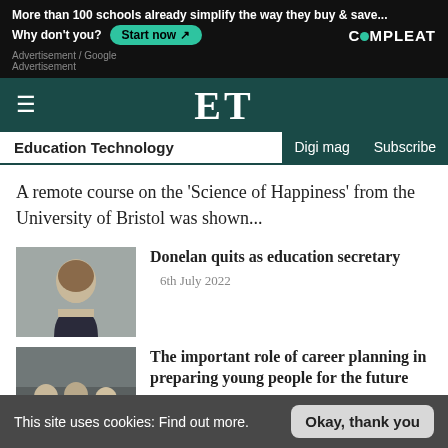[Figure (screenshot): Advertisement banner for COMPLEAT showing 'More than 100 schools already simplify the way they buy & save... Why don't you? Start now' with teal Start now button and COMPLEAT logo]
Advertisement / Google Advertisement
ET
Education Technology | Digi mag | Subscribe
A remote course on the 'Science of Happiness' from the University of Bristol was shown...
[Figure (photo): Portrait photo of a woman smiling, likely Michelle Donelan]
Donelan quits as education secretary
6th July 2022
[Figure (photo): Photo of people sitting around a table in a meeting/workshop setting]
The important role of career planning in preparing young people for the future
7th December 2021
This site uses cookies: Find out more.